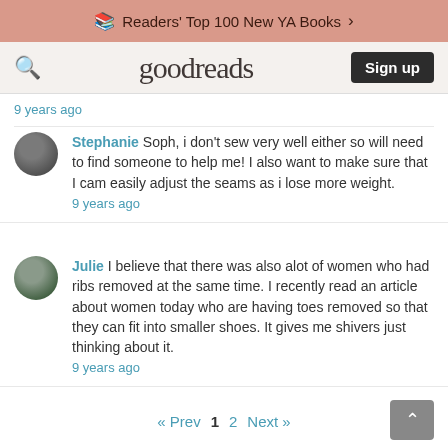Readers' Top 100 New YA Books
goodreads | Sign up
9 years ago
Stephanie Soph, i don't sew very well either so will need to find someone to help me! I also want to make sure that I cam easily adjust the seams as i lose more weight.
9 years ago
Julie I believe that there was also alot of women who had ribs removed at the same time. I recently read an article about women today who are having toes removed so that they can fit into smaller shoes. It gives me shivers just thinking about it.
9 years ago
« Prev  1  2  Next »